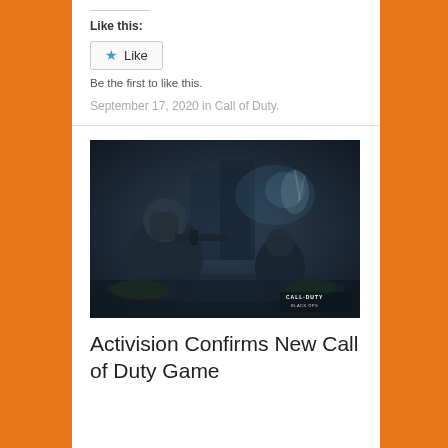Like this:
Like
Be the first to like this.
September 17, 2020 in Call of Duty.
[Figure (photo): Call of Duty Black Ops game screenshot showing two armed soldiers in tactical gear in a dark, gritty environment with the Call of Duty Black Ops logo in the lower right corner.]
Activision Confirms New Call of Duty Game